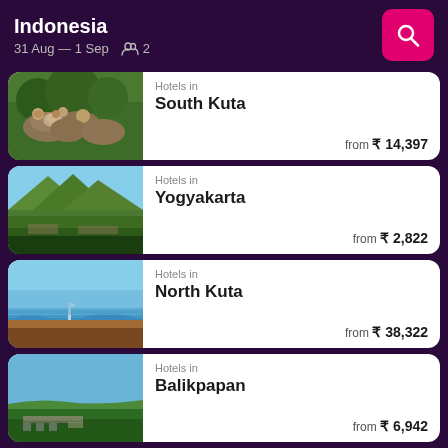Indonesia
31 Aug — 1 Sep   2
Hotels in South Kuta — from ₹ 14,397
Hotels in Yogyakarta — from ₹ 2,822
Hotels in North Kuta — from ₹ 38,322
Hotels in Balikpapan — from ₹ 6,942